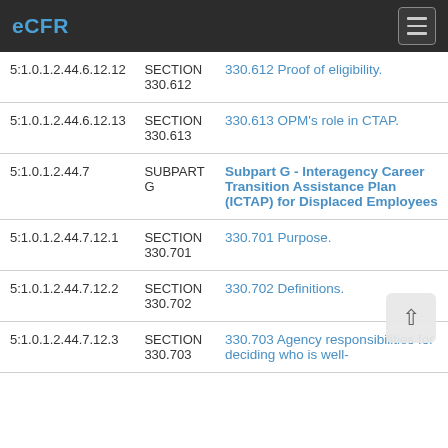eCFR
|  |  |  |
| --- | --- | --- |
| 5:1.0.1.2.44.6.12.12 | SECTION 330.612 | 330.612 Proof of eligibility. |
| 5:1.0.1.2.44.6.12.13 | SECTION 330.613 | 330.613 OPM's role in CTAP. |
| 5:1.0.1.2.44.7 | SUBPART G | Subpart G - Interagency Career Transition Assistance Plan (ICTAP) for Displaced Employees |
| 5:1.0.1.2.44.7.12.1 | SECTION 330.701 | 330.701 Purpose. |
| 5:1.0.1.2.44.7.12.2 | SECTION 330.702 | 330.702 Definitions. |
| 5:1.0.1.2.44.7.12.3 | SECTION 330.703 | 330.703 Agency responsibilities for deciding who is well- |